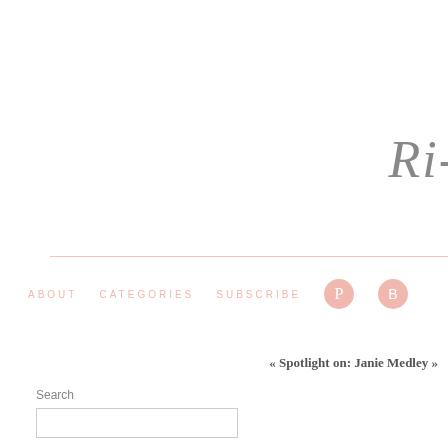Ri-
ABOUT   CATEGORIES   SUBSCRIBE
« Spotlight on: Janie Medley »
Search